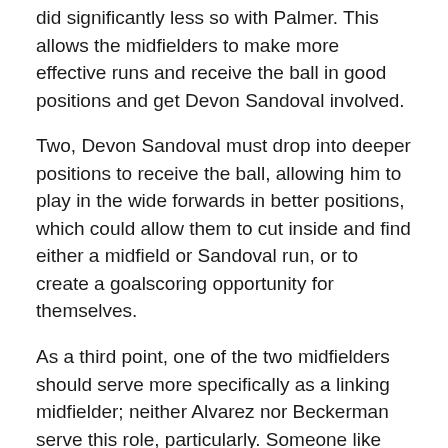did significantly less so with Palmer. This allows the midfielders to make more effective runs and receive the ball in good positions and get Devon Sandoval involved.
Two, Devon Sandoval must drop into deeper positions to receive the ball, allowing him to play in the wide forwards in better positions, which could allow them to cut inside and find either a midfield or Sandoval run, or to create a goalscoring opportunity for themselves.
As a third point, one of the two midfielders should serve more specifically as a linking midfielder; neither Alvarez nor Beckerman serve this role, particularly. Someone like Ned Grabavoy serves this role especially well, but the first two factors must be addressed before that really has a chance to make a difference.